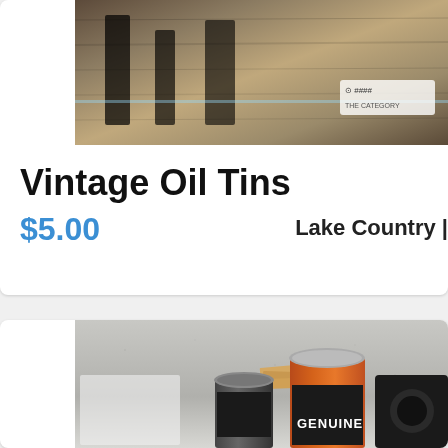[Figure (photo): Photo of vintage oil tins on wooden shelving]
Vintage Oil Tins
$5.00
Lake Country |
[Figure (photo): Photo of vintage oil cans including a dark can and an orange Genuine branded can on a gray surface with wood pieces]